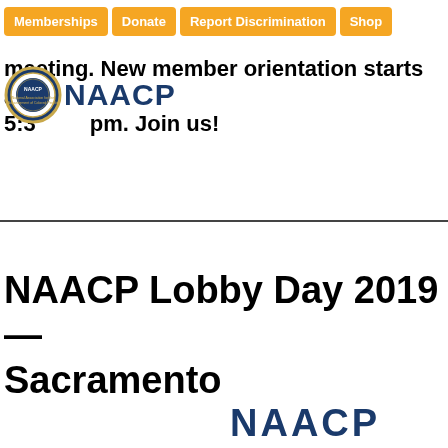Memberships | Donate | Report Discrimination | Shop
Join us for our monthly general membership meeting. New member orientation starts at 5:30pm. Join us!
[Figure (logo): NAACP circular seal logo with blue and gold colors, alongside NAACP wordmark in dark blue]
NAACP Lobby Day 2019—Sacramento
[Figure (logo): NAACP wordmark in dark navy blue, partially visible at bottom of page]